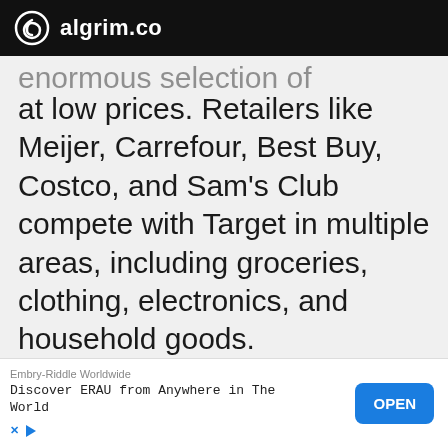algrim.co
enormous selection of products available at low prices. Retailers like Meijer, Carrefour, Best Buy, Costco, and Sam's Club compete with Target in multiple areas, including groceries, clothing, electronics, and household goods.
[Figure (other): Advertisement banner: Embry-Riddle Worldwide — Discover ERAU from Anywhere in The World — OPEN button]